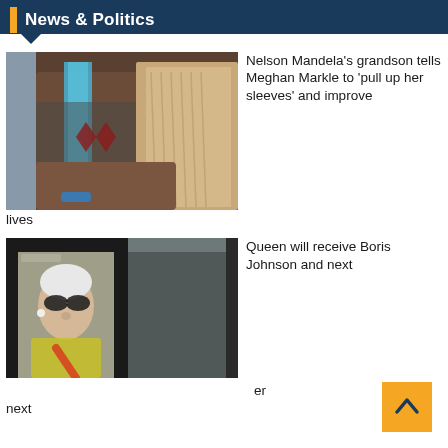News & Politics
[Figure (photo): Person in traditional African clothing holding an animal skin]
Nelson Mandela's grandson tells Meghan Markle to 'pull up her sleeves' and improve lives
[Figure (photo): Elderly woman (Queen Elizabeth II) seen through car window]
Queen will receive Boris Johnson and next prime minister next